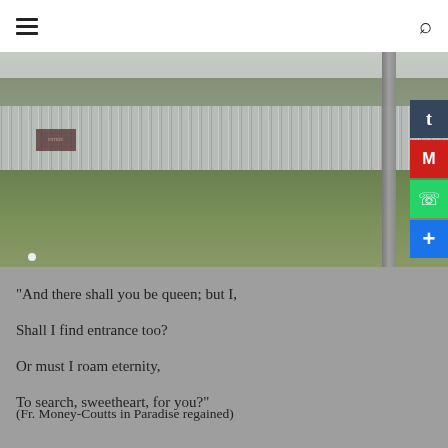[Figure (photo): Outdoor photo showing an empty lot with a corrugated metal fence/barrier in the background, grass-covered ground in the foreground, trees and rooftops behind the fence, a wooden utility pole on the right side. Social media sharing buttons (Tumblr, Gmail, WhatsApp, +) visible on right edge.]
“And there shall you be queen; but I,
Shall I find entrance too?
Or must I roam eternity,
To search, sweetheart, for you?”
(Fr. Money-Coutts in Paradise regained)